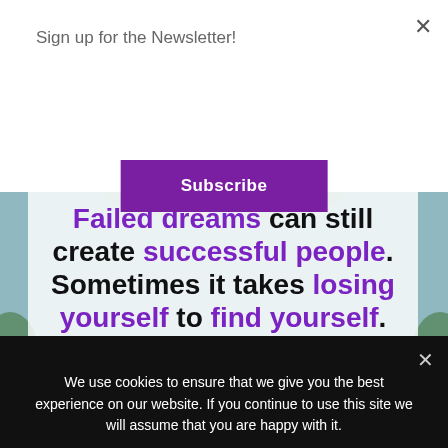Sign up for the Newsletter!
Subscribe
[Figure (illustration): Motivational quote image with floral background. Text reads: 'Failed dreams can still create successful people. Sometimes it takes losing yourself to find yourself.' with @SHONADOTIE watermark. Key phrases are in purple bold.]
We use cookies to ensure that we give you the best experience on our website. If you continue to use this site we will assume that you are happy with it.
Ok